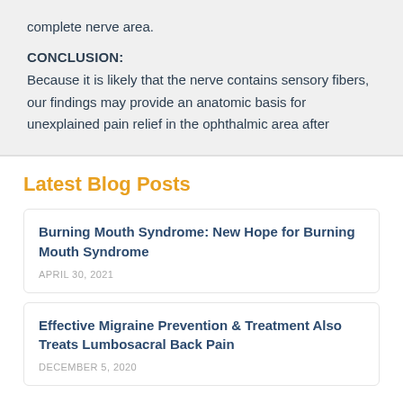complete nerve area.
CONCLUSION:
Because it is likely that the nerve contains sensory fibers, our findings may provide an anatomic basis for unexplained pain relief in the ophthalmic area after
Latest Blog Posts
Burning Mouth Syndrome: New Hope for Burning Mouth Syndrome
APRIL 30, 2021
Effective Migraine Prevention & Treatment Also Treats Lumbosacral Back Pain
DECEMBER 5, 2020